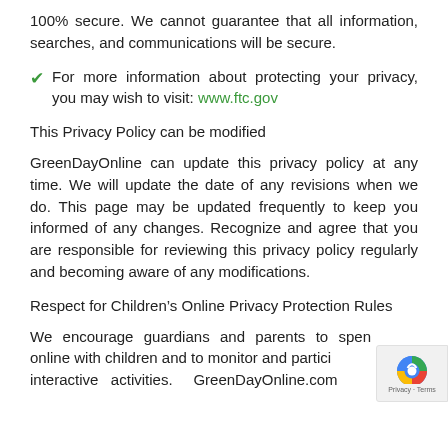100% secure. We cannot guarantee that all information, searches, and communications will be secure.
For more information about protecting your privacy, you may wish to visit: www.ftc.gov
This Privacy Policy can be modified
GreenDayOnline can update this privacy policy at any time. We will update the date of any revisions when we do. This page may be updated frequently to keep you informed of any changes. Recognize and agree that you are responsible for reviewing this privacy policy regularly and becoming aware of any modifications.
Respect for Children’s Online Privacy Protection Rules
We encourage guardians and parents to spend time online with children and to monitor and participate in their interactive activities. GreenDayOnline.com